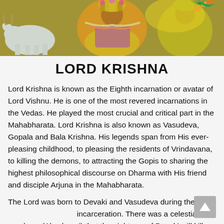[Figure (illustration): Colorful Indian religious illustration showing Lord Krishna with a white cow and other figures in vibrant orange, yellow, pink and green colors]
LORD KRISHNA
Lord Krishna is known as the Eighth incarnation or avatar of Lord Vishnu. He is one of the most revered incarnations in the Vedas. He played the most crucial and critical part in the Mahabharata. Lord Krishna is also known as Vasudeva, Gopala and Bala Krishna. His legends span from His ever-pleasing childhood, to pleasing the residents of Vrindavana, to killing the demons, to attracting the Gopis to sharing the highest philosophical discourse on Dharma with His friend and disciple Arjuna in the Mahabharata.
The Lord was born to Devaki and Vasudeva during their incarceration. There was a celestial prophecy (Akashvani) that the eight son of Devaki will kill the demonic King Kansa, brother of Devaki. This was due to his demonic nature and ruthless policies on his kingdom. Soon after the prophecy, Lord his...